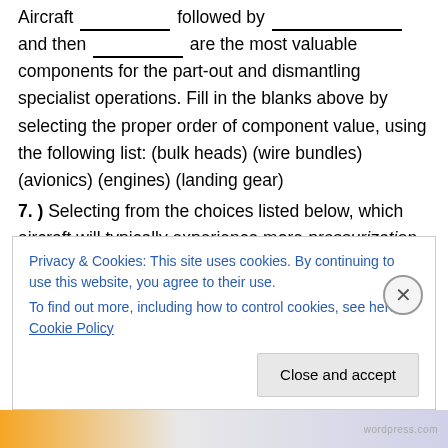Aircraft __ followed by __ and then __ are the most valuable components for the part-out and dismantling specialist operations. Fill in the blanks above by selecting the proper order of component value, using the following list: (bulk heads) (wire bundles) (avionics) (engines) (landing gear)
7. ) Selecting from the choices listed below, which aircraft will typically experience more pressurization cycles and why? A or B __ A. Jumbo jet (larger, multi isle aircraft) which is used for longer, overseas flights. B. Smaller, single isle jet airliners, which are used more for
Privacy & Cookies: This site uses cookies. By continuing to use this website, you agree to their use. To find out more, including how to control cookies, see here: Cookie Policy